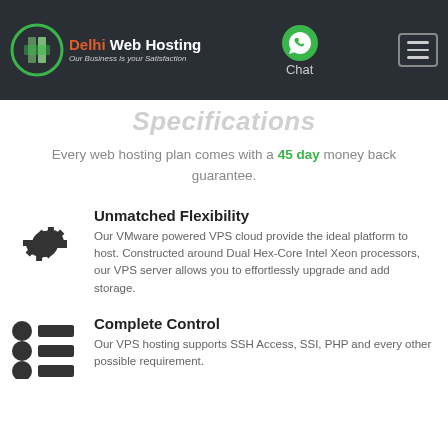Delhi Web Hosting — Our Business is your Satisfaction | Chat | Menu
Specifications
Every web hosting plan comes with a 45 day money back guarantee.
Unmatched Flexibility
Our VMware powered VPS cloud provide the ideal platform to host. Constructed around Dual Hex-Core Intel Xeon processors, our VPS server allows you to effortlessly upgrade and add storage.
Complete Control
Our VPS hosting supports SSH Access, SSI, PHP and every other possible requirement.